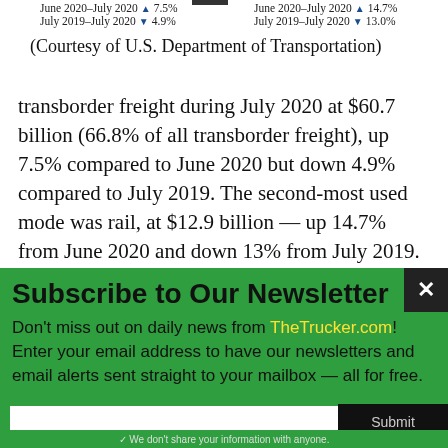June 2020–July 2020 ▲ 7.5%   June 2020–July 2020 ▲ 14.7%
July 2019–July 2020 ▼ 4.9%   July 2019–July 2020 ▼ 13.0%
(Courtesy of U.S. Department of Transportation)
transborder freight during July 2020 at $60.7 billion (66.8% of all transborder freight), up 7.5% compared to June 2020 but down 4.9% compared to July 2019. The second-most used mode was rail, at $12.9 billion — up 14.7% from June 2020 and down 13% from July 2019.
Subscribe to Our Newsletter
Don't miss out on daily news from TheTrucker.com! Enter your email address to have our newsletters and email alerts sent straight to your mailbox — all for free.
✓ We don't share your information with anyone.